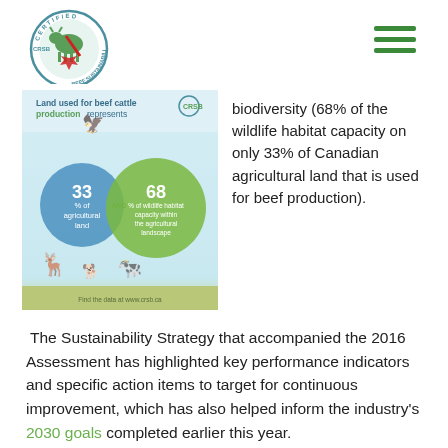[Figure (logo): CRSB Certified Beef Sustainability circular logo with a cow icon and Canadian maple leaf]
[Figure (infographic): Infographic showing land used for beef cattle production represents 33% of agricultural land AND 68% of wildlife habitat capacity within the agricultural landscape. Features two overlapping circles with animal silhouettes. CRSB logo top right, website www.crsb.ca at bottom.]
biodiversity (68% of the wildlife habitat capacity on only 33% of Canadian agricultural land that is used for beef production).
The Sustainability Strategy that accompanied the 2016 Assessment has highlighted key performance indicators and specific action items to target for continuous improvement, which has also helped inform the industry's 2030 goals completed earlier this year.